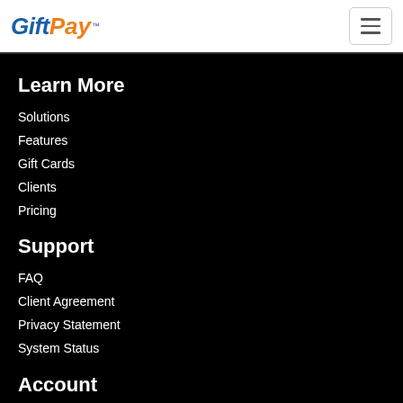GiftPay™
Learn More
Solutions
Features
Gift Cards
Clients
Pricing
Support
FAQ
Client Agreement
Privacy Statement
System Status
Account
Sign Up